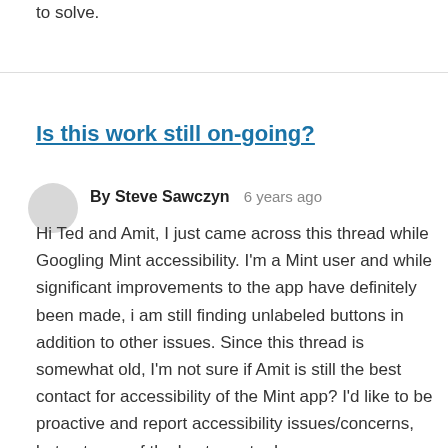to solve.
Is this work still on-going?
By Steve Sawczyn   6 years ago
Hi Ted and Amit, I just came across this thread while Googling Mint accessibility. I'm a Mint user and while significant improvements to the app have definitely been made, i am still finding unlabeled buttons in addition to other issues. Since this thread is somewhat old, I'm not sure if Amit is still the best contact for accessibility of the Mint app? I'd like to be proactive and report accessibility issues/concerns, but not sure of the best way to do so.